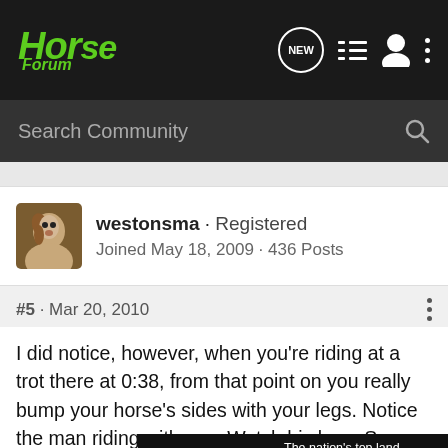Horse Forum
Search Community
westonsma · Registered
Joined May 18, 2009 · 436 Posts
#5 · Mar 20, 2010
I did notice, however, when you're riding at a trot there at 0:38, from that point on you really bump your horse's sides with your legs. Notice the man riding with you. Watch his legs. See how tightly clamped they are to the horse's sides? When you ride, you should ride with a constant and steady pressure with your legs, and steer with your horse's ribs more than his face. I noticed [ad] reacts to the b[...] n
[Figure (screenshot): GroundOS advertisement banner: 'The nation's top land brokers run on GroundOS. REQUEST A DEMO']